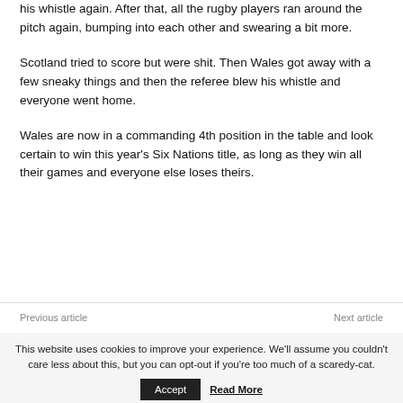his whistle again. After that, all the rugby players ran around the pitch again, bumping into each other and swearing a bit more.
Scotland tried to score but were shit. Then Wales got away with a few sneaky things and then the referee blew his whistle and everyone went home.
Wales are now in a commanding 4th position in the table and look certain to win this year's Six Nations title, as long as they win all their games and everyone else loses theirs.
Previous article    Next article
This website uses cookies to improve your experience. We'll assume you couldn't care less about this, but you can opt-out if you're too much of a scaredy-cat.  Accept  Read More